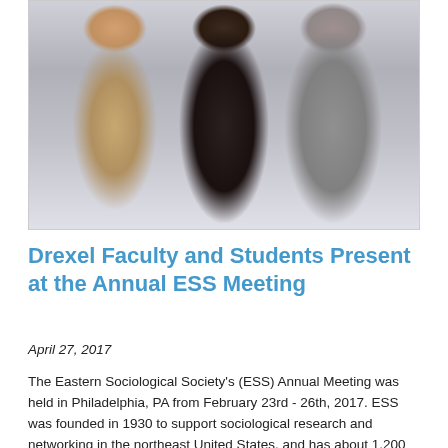[Figure (photo): A photograph of three people posing together. On the left is a woman with long brown hair wearing a black outfit. In the middle is a woman wearing a plaid blazer over a dark top with a name tag. On the right is a man wearing a light grey button-up shirt. They appear to be at a conference or meeting event.]
Drexel Faculty and Students Present at the Annual ESS Meeting
April 27, 2017
The Eastern Sociological Society's (ESS) Annual Meeting was held in Philadelphia, PA from February 23rd - 26th, 2017. ESS was founded in 1930 to support sociological research and networking in the northeast United States, and has about 1,200 members. There were approximately 1,450 registrants at this year's annual meeting and approximately 200 undergraduates presented posters. Drexel was well